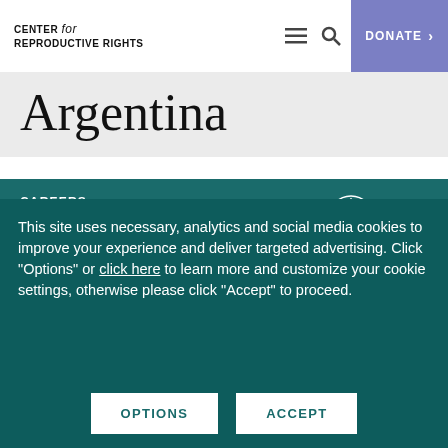CENTER for REPRODUCTIVE RIGHTS | DONATE
Argentina
CAREERS
PRIVACY POLICY
[Figure (logo): Charity Navigator four-star rating logo with compass/windmill symbol]
This site uses necessary, analytics and social media cookies to improve your experience and deliver targeted advertising. Click "Options" or click here to learn more and customize your cookie settings, otherwise please click "Accept" to proceed.
OPTIONS | ACCEPT